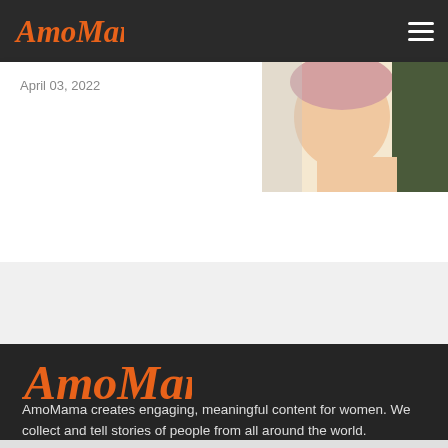AmoMama
April 03, 2022
[Figure (photo): Partial photo of a person, cropped, upper right of card area]
[Figure (logo): AmoMama logo in orange cursive script on dark background]
AmoMama creates engaging, meaningful content for women. We collect and tell stories of people from all around the world.